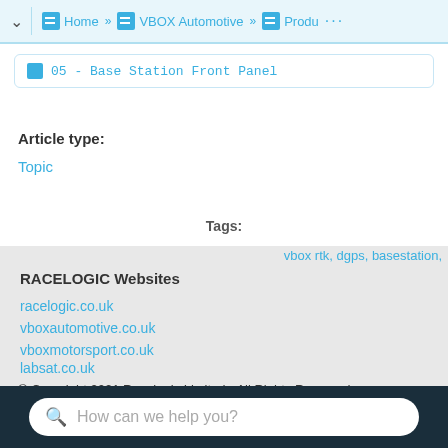Home » VBOX Automotive » Produ... ···
05 - Base Station Front Panel
Article type:
Topic
Tags:
vbox rtk, dgps, basestation,
RACELOGIC Websites
racelogic.co.uk
vboxautomotive.co.uk
vboxmotorsport.co.uk
labsat.co.uk
vboxpositioning.com
vboxmining.com
© Copyright 2021 Racelogic Limited - All Rights Reserved
How can we help you?